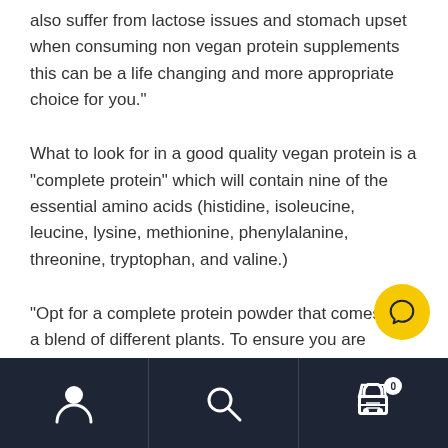also suffer from lactose issues and stomach upset when consuming non vegan protein supplements this can be a life changing and more appropriate choice for you."
What to look for in a good quality vegan protein is a “complete protein” which will contain nine of the essential amino acids (histidine, isoleucine, leucine, lysine, methionine, phenylalanine, threonine, tryptophan, and valine.)
“Opt for a complete protein powder that comes with a blend of different plants. To ensure you are getting all essential amino acids.”
[Figure (other): Yellow circular chat/message button with speech bubble icon, positioned bottom-right of content area]
Navigation bar with user icon, search icon, and shopping cart icon with badge showing 0